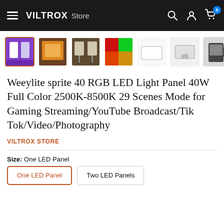VILTROX Store
[Figure (screenshot): Product thumbnail gallery showing 7 product images of Weeylite Sprite 40 RGB LED Light Panel in various colors and configurations]
Weeylite sprite 40 RGB LED Light Panel 40W Full Color 2500K-8500K 29 Scenes Mode for Gaming Streaming/YouTube Broadcast/Tik Tok/Video/Photography
VILTROX STORE
Size: One LED Panel
One LED Panel
Two LED Panels